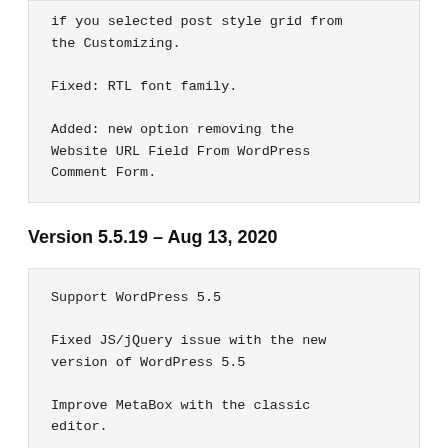if you selected post style grid from the Customizing.

Fixed: RTL font family.

Added: new option removing the Website URL Field From WordPress Comment Form.
Version 5.5.19 – Aug 13, 2020
Support WordPress 5.5

Fixed JS/jQuery issue with the new version of WordPress 5.5

Improve MetaBox with the classic editor.

Fixed System Status error message on